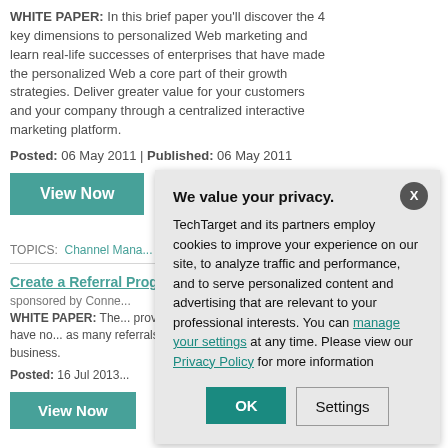WHITE PAPER: In this brief paper you'll discover the 4 key dimensions to personalized Web marketing and learn real-life successes of enterprises that have made the personalized Web a core part of their growth strategies. Deliver greater value for your customers and your company through a centralized interactive marketing platform.
Posted: 06 May 2011 | Published: 06 May 2011
View Now
TOPICS: Channel Mana... Enterprise Content Mana...
Create a Referral Prog...
sponsored by Conne...
WHITE PAPER: The... provider businesses... businesses have no... as many referrals as... best strategies for cr... business.
Posted: 16 Jul 2013...
View Now
We value your privacy.
TechTarget and its partners employ cookies to improve your experience on our site, to analyze traffic and performance, and to serve personalized content and advertising that are relevant to your professional interests. You can manage your settings at any time. Please view our Privacy Policy for more information
OK
Settings